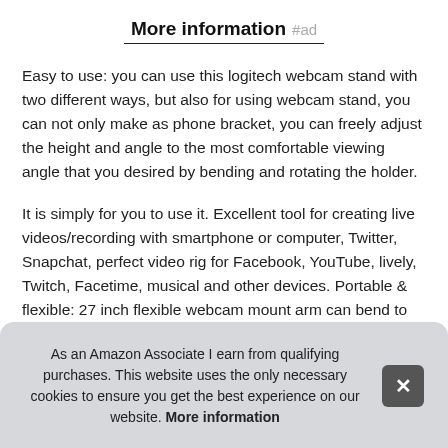More information #ad
Easy to use: you can use this logitech webcam stand with two different ways, but also for using webcam stand, you can not only make as phone bracket, you can freely adjust the height and angle to the most comfortable viewing angle that you desired by bending and rotating the holder.
It is simply for you to use it. Excellent tool for creating live videos/recording with smartphone or computer, Twitter, Snapchat, perfect video rig for Facebook, YouTube, lively, Twitch, Facetime, musical and other devices. Portable & flexible: 27 inch flexible webcam mount arm can bend to any sha... lazy... vide... this...
As an Amazon Associate I earn from qualifying purchases. This website uses the only necessary cookies to ensure you get the best experience on our website. More information